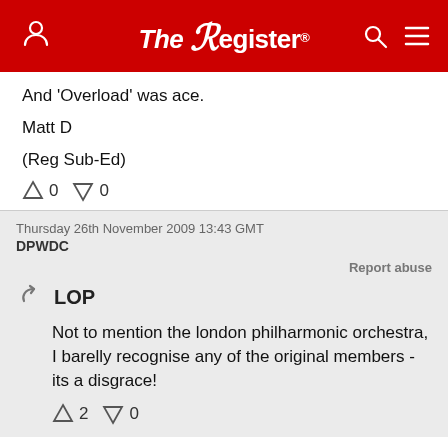The Register
And 'Overload' was ace.

Matt D

(Reg Sub-Ed)
↑0  ↓0
Thursday 26th November 2009 13:43 GMT
DPWDC
Report abuse
LOP
Not to mention the london philharmonic orchestra, I barelly recognise any of the original members - its a disgrace!
↑2  ↓0